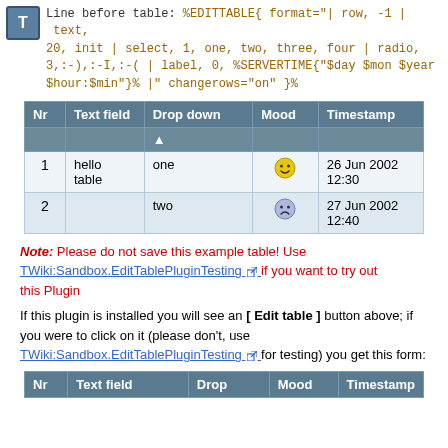Line before table: %EDITTABLE{ format="| row, -1 | text, 20, init | select, 1, one, two, three, four | radio, 3,:-),:-I,:-( | label, 0, %SERVERTIME{"$day $mon $year $hour:$min"}% |" changerows="on" }%
| Nr | Text field | Drop down | Mood | Timestamp |
| --- | --- | --- | --- | --- |
|  |  | ▲ |  |  |
| 1 | hello
table | one | ☺ | 26 Jun 2002 12:30 |
| 2 |  | two | ☹ | 27 Jun 2002 12:40 |
Note: Please do not save this example table! Use TWiki:Sandbox.EditTablePluginTesting if you want to try out this Plugin
If this plugin is installed you will see an [ Edit table ] button above; if you were to click on it (please don't, use TWiki:Sandbox.EditTablePluginTesting for testing) you get this form:
| Nr | Text field | Drop | Mood | Timestamp |
| --- | --- | --- | --- | --- |